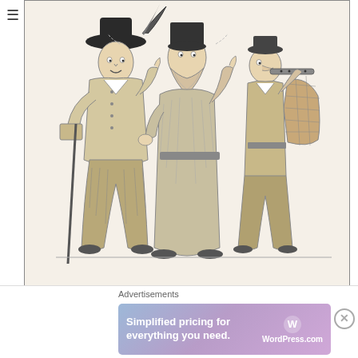[Figure (illustration): Historical woodcut-style black and white illustration showing three Puritan figures in period dress. On the left, a figure wearing a feathered hat gestures and holds something. In the center, a bearded figure in long robes raises one finger. On the right, a shorter figure plays a wind instrument and carries a basket on their back.]
Puritans
There was a ban on anything associated with Christmas celebrations, including mince pies and plum pudding. Soldiers even roamed the streets seizing food by force if they believed it be associated with a Christmas feast. And so came the so-called 'Mince Pie Riots', more accurately called the Plum
Advertisements
[Figure (screenshot): Advertisement banner for WordPress.com reading 'Simplified pricing for everything you need.' with WordPress.com logo on right side, on a purple/blue gradient background.]